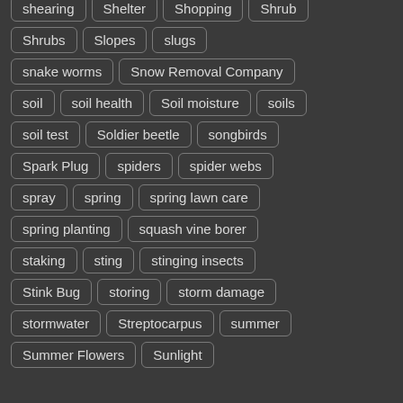shearing
Shelter
Shopping
Shrub
Shrubs
Slopes
slugs
snake worms
Snow Removal Company
soil
soil health
Soil moisture
soils
soil test
Soldier beetle
songbirds
Spark Plug
spiders
spider webs
spray
spring
spring lawn care
spring planting
squash vine borer
staking
sting
stinging insects
Stink Bug
storing
storm damage
stormwater
Streptocarpus
summer
Summer Flowers
Sunlight